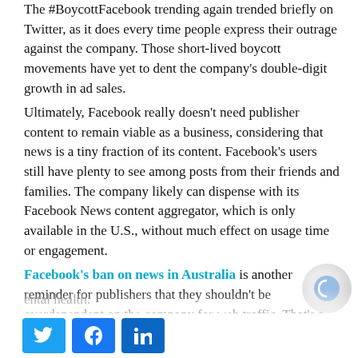The #BoycottFacebook trending again trended briefly on Twitter, as it does every time people express their outrage against the company. Those short-lived boycott movements have yet to dent the company's double-digit growth in ad sales.
Ultimately, Facebook really doesn't need publisher content to remain viable as a business, considering that news is a tiny fraction of its content. Facebook's users still have plenty to see among posts from their friends and families. The company likely can dispense with its Facebook News content aggregator, which is only available in the U.S., without much effect on usage time or engagement.
Facebook's ban on news in Australia is another reminder for publishers that they shouldn't be overdependent on the company for web traffic. That's a lesson many learned three years ago, when Facebook changed its news feed algorithm to show fewer articles from publishers as part of an effort to prioritize "meaningful social interactions." At that time, the company was responding to criticism that Facebook was... ental health.